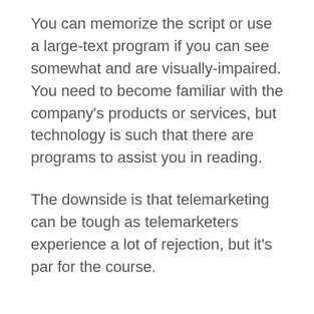You can memorize the script or use a large-text program if you can see somewhat and are visually-impaired. You need to become familiar with the company's products or services, but technology is such that there are programs to assist you in reading.
The downside is that telemarketing can be tough as telemarketers experience a lot of rejection, but it's par for the course.